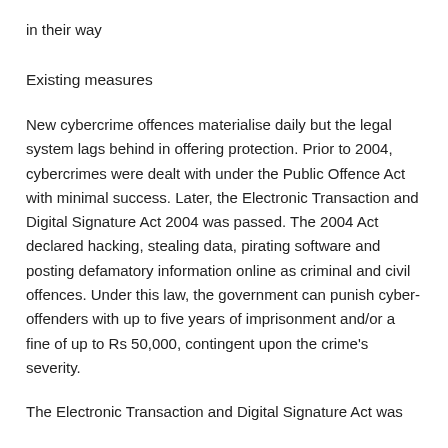in their way
Existing measures
New cybercrime offences materialise daily but the legal system lags behind in offering protection. Prior to 2004, cybercrimes were dealt with under the Public Offence Act with minimal success. Later, the Electronic Transaction and Digital Signature Act 2004 was passed. The 2004 Act declared hacking, stealing data, pirating software and posting defamatory information online as criminal and civil offences. Under this law, the government can punish cyber-offenders with up to five years of imprisonment and/or a fine of up to Rs 50,000, contingent upon the crime's severity.
The Electronic Transaction and Digital Signature Act was